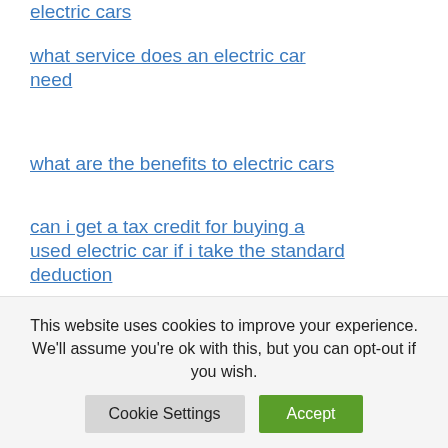electric cars
what service does an electric car need
what are the benefits to electric cars
can i get a tax credit for buying a used electric car if i take the standard deduction
how cheap can you get a new electric car reddit
how to retrofit carport for electric car
This website uses cookies to improve your experience. We'll assume you're ok with this, but you can opt-out if you wish.